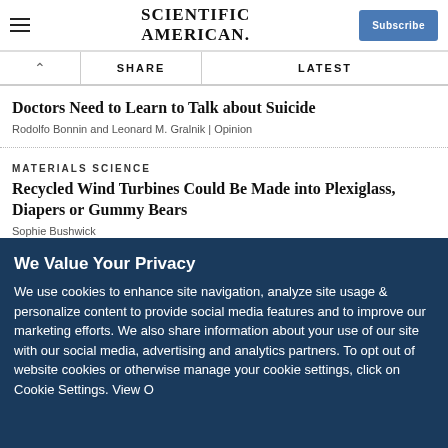SCIENTIFIC AMERICAN
Doctors Need to Learn to Talk about Suicide
Rodolfo Bonnin and Leonard M. Gralnik | Opinion
MATERIALS SCIENCE
Recycled Wind Turbines Could Be Made into Plexiglass, Diapers or Gummy Bears
Sophie Bushwick
We Value Your Privacy
We use cookies to enhance site navigation, analyze site usage & personalize content to provide social media features and to improve our marketing efforts. We also share information about your use of our site with our social media, advertising and analytics partners. To opt out of website cookies or otherwise manage your cookie settings, click on Cookie Settings. View O